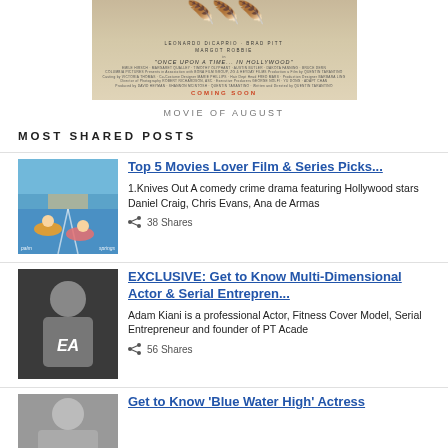[Figure (photo): Movie poster for 'Once Upon a Time in Hollywood' showing movie title and cast credits with 'COMING SOON' at the bottom]
MOVIE OF AUGUST
MOST SHARED POSTS
[Figure (photo): Thumbnail image of people floating in a pool with colorful floaties on a road]
Top 5 Movies Lover Film & Series Picks...
1.Knives Out A comedy crime drama featuring Hollywood stars Daniel Craig, Chris Evans, Ana de Armas
38 Shares
[Figure (photo): Thumbnail of a muscular man wearing an EA tank top]
EXCLUSIVE: Get to Know Multi-Dimensional Actor & Serial Entrepren...
Adam Kiani is a professional Actor, Fitness Cover Model, Serial Entrepreneur and founder of PT Acade
56 Shares
[Figure (photo): Partial thumbnail of a person for the Blue Water High article]
Get to Know 'Blue Water High' Actress